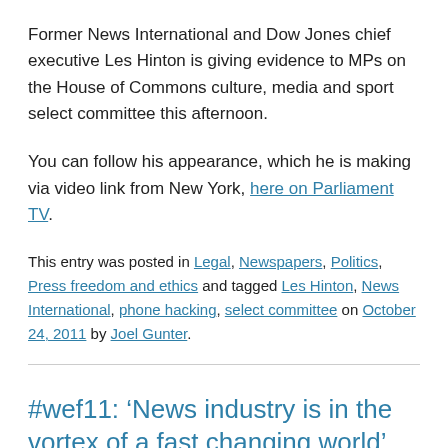Former News International and Dow Jones chief executive Les Hinton is giving evidence to MPs on the House of Commons culture, media and sport select committee this afternoon.
You can follow his appearance, which he is making via video link from New York, here on Parliament TV.
This entry was posted in Legal, Newspapers, Politics, Press freedom and ethics and tagged Les Hinton, News International, phone hacking, select committee on October 24, 2011 by Joel Gunter.
#wef11: ‘News industry is in the vortex of a fast changing world’